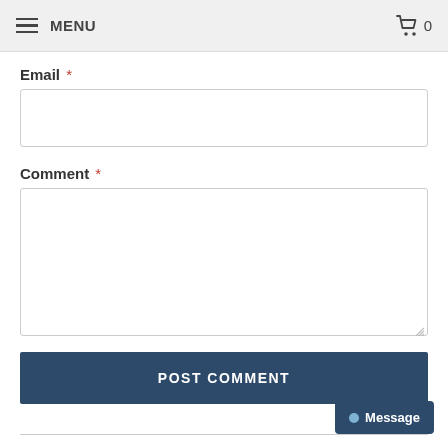≡ MENU   🛒 0
Email *
Comment *
POST COMMENT
ALSO IN DJANGO DOG BLOG
Message